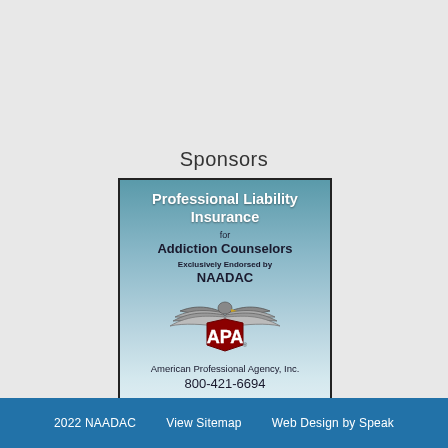Sponsors
[Figure (illustration): Sponsor advertisement for American Professional Agency, Inc. showing Professional Liability Insurance for Addiction Counselors, Exclusively Endorsed by NAADAC. Features the APA eagle logo. Phone: 800-421-6694.]
2022 NAADAC   View Sitemap   Web Design by Speak